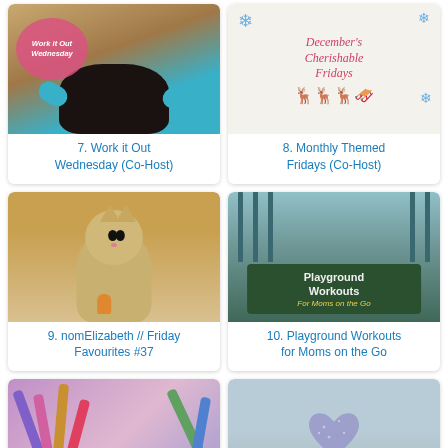[Figure (photo): Work it Out Wednesday blog link image - person with dog, pink circular overlay text]
7. Work it Out Wednesday (Co-Host)
[Figure (photo): December's Cherishable Fridays blog link image - holiday themed with snowflakes and reindeer silhouette]
8. Monthly Themed Fridays (Co-Host)
[Figure (photo): nomElizabeth Friday Favourites - cat with tiny figurine]
9. nomElizabeth // Friday Favourites #37
[Figure (photo): Playground Workouts for Moms on the Go - playground equipment with green sign]
10. Playground Workouts for Moms on the Go
[Figure (photo): Makeup markers/pens scattered]
[Figure (photo): Heart shape glitter image with text Don't let the...]